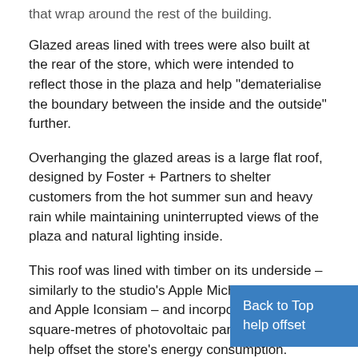that wrap around the rest of the building.
Glazed areas lined with trees were also built at the rear of the store, which were intended to reflect those in the plaza and help "dematerialise the boundary between the inside and the outside" further.
Overhanging the glazed areas is a large flat roof, designed by Foster + Partners to shelter customers from the hot summer sun and heavy rain while maintaining uninterrupted views of the plaza and natural lighting inside.
This roof was lined with timber on its underside – similarly to the studio's Apple Michigan Avenue and Apple Iconsiam – and incorporates 390-square-metres of photovoltaic panels on top to help offset the store's energy consumption.
Back to Top